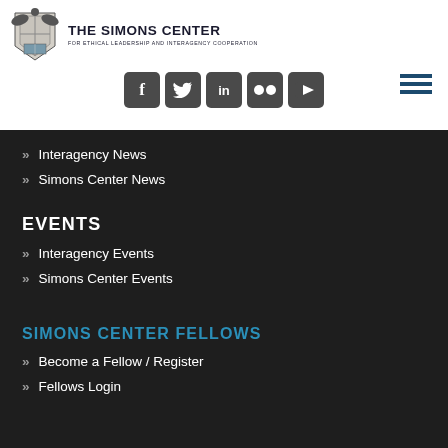[Figure (logo): The Simons Center for Ethical Leadership and Interagency Cooperation logo with crest and text]
[Figure (infographic): Social media icons: Facebook, Twitter, LinkedIn, Flickr, YouTube, and hamburger menu]
» Interagency News
» Simons Center News
EVENTS
» Interagency Events
» Simons Center Events
SIMONS CENTER FELLOWS
» Become a Fellow / Register
» Fellows Login